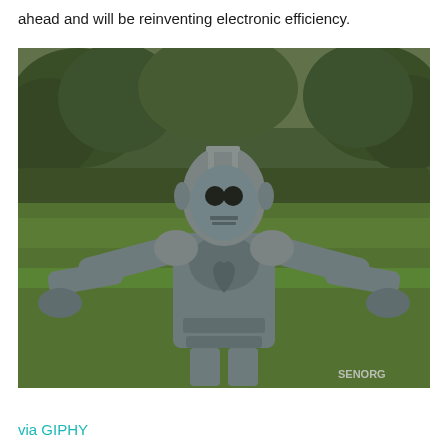ahead and will be reinventing electronic efficiency.
[Figure (photo): A Cyberman robot costume figure standing outdoors on a green lawn with trees in the background, arms spread wide, shot in a greenish tinted photo. Watermark 'SENORG' visible in the bottom right corner.]
via GIPHY